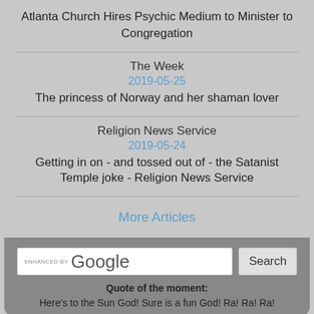Atlanta Church Hires Psychic Medium to Minister to Congregation
The Week
2019-05-25
The princess of Norway and her shaman lover
Religion News Service
2019-05-24
Getting in on - and tossed out of - the Satanist Temple joke - Religion News Service
More Articles
[Figure (screenshot): Google search box with 'ENHANCED BY Google' label and a Search button]
Quote of the moment:
Here's to the Sun God! Sure is a fun God! Ra! Ra! Ra!